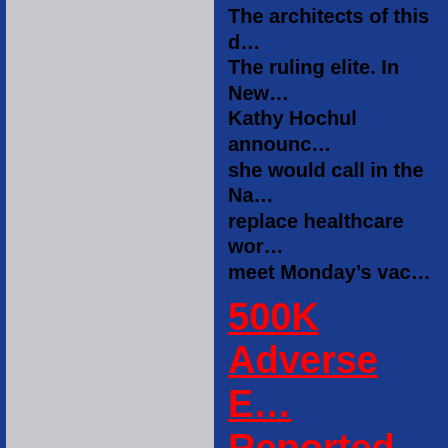The architects of this d… The ruling elite. In New… Kathy Hochul announc… she would call in the Na… replace healthcare wor… meet Monday's vac…
500K Adverse E… Reported After … Vaccines In The…
from Great Game India…
As of Sept. 27, 2021 the… adverse event reports a…